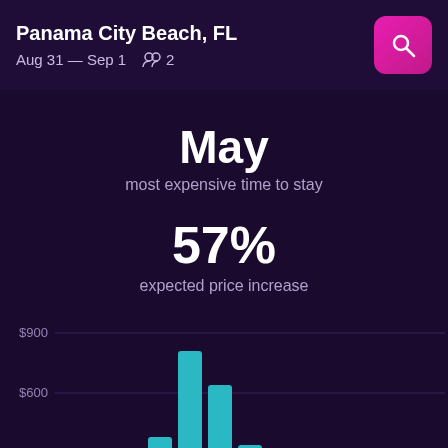Panama City Beach, FL | Aug 31 — Sep 1 | 2 guests
May
most expensive time to stay
57%
expected price increase
[Figure (bar-chart): Hotel prices by month]